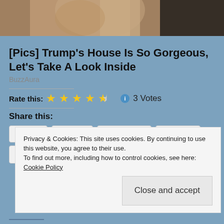[Figure (photo): Cropped photo of people, partially visible at the top of the page]
[Pics] Trump's House Is So Gorgeous, Let's Take A Look Inside
BuzzAura
Rate this: ★★★★½ ℹ 3 Votes
Share this:
Print  Email  Facebook  Twitter
Privacy & Cookies: This site uses cookies. By continuing to use this website, you agree to their use.
To find out more, including how to control cookies, see here: Cookie Policy
Close and accept